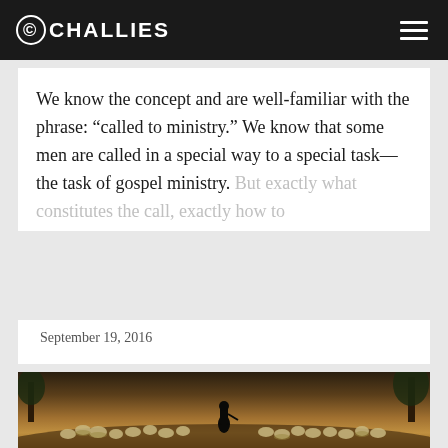CHALLIES
We know the concept and are well-familiar with the phrase: “called to ministry.” We know that some men are called in a special way to a special task—the task of gospel ministry. But exactly what constitutes the call, exactly how to
September 19, 2016
[Figure (photo): A shepherd seen from behind walking with a large flock of sheep in a field with warm golden lighting and trees in the background]